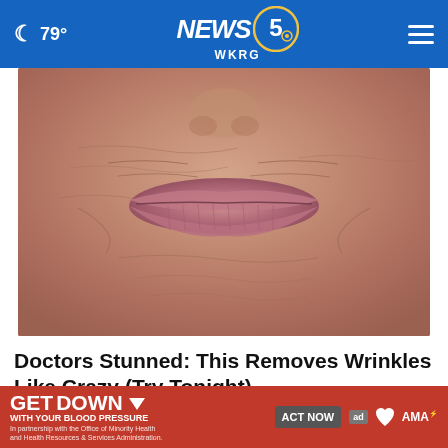🌙 79° NEWS 5 WKRG
[Figure (photo): Close-up macro photo of elderly person's heavily wrinkled lips and surrounding skin area]
Doctors Stunned: This Removes Wrinkles Like Crazy (Try Tonight)
Rejuvalift
[Figure (infographic): Advertisement banner: GET DOWN WITH YOUR BLOOD PRESSURE. In partnership with the Office of Minority Health and Health Resources & Services Administration. ACT NOW button. Ad council, American Heart Association, and AMA logos.]